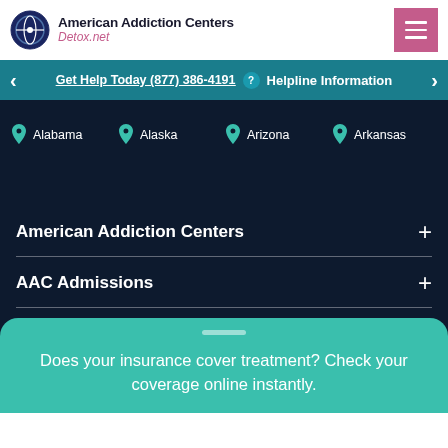American Addiction Centers Detox.net
Get Help Today (877) 386-4191  Helpline Information
Alabama
Alaska
Arizona
Arkansas
American Addiction Centers
AAC Admissions
Does your insurance cover treatment? Check your coverage online instantly.